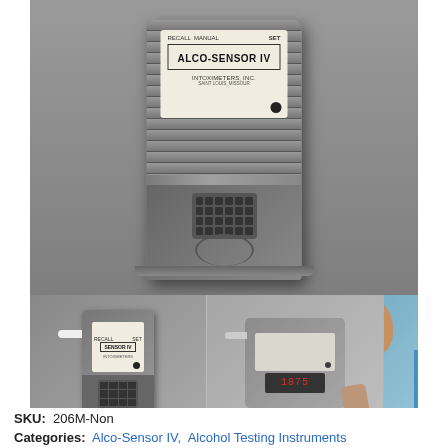[Figure (photo): Large product photo of Alco-Sensor IV breathalyzer device, gray plastic body with ribbed casing, label reading ALCO-SENSOR IV by INTOXIMETERS, INC., shown against gray background]
[Figure (photo): Three smaller thumbnail images: (1) Alco-Sensor IV device with mouthpiece, (2) close-up of the device showing digital display reading 1875, (3) person blowing into the Alco-Sensor IV breathalyzer]
SKU: 206M-Non
Categories: Alco-Sensor IV, Alcohol Testing Instruments
★★★★★ (1 customer review)